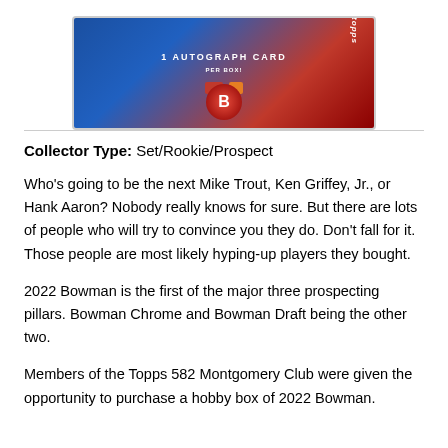[Figure (photo): A Bowman baseball card box showing '1 Autograph Card Per Box!' text with Topps branding, MLB and Players logos, and a red circle design on a blue and red background.]
Collector Type: Set/Rookie/Prospect
Who’s going to be the next Mike Trout, Ken Griffey, Jr., or Hank Aaron? Nobody really knows for sure. But there are lots of people who will try to convince you they do. Don’t fall for it. Those people are most likely hyping-up players they bought.
2022 Bowman is the first of the major three prospecting pillars. Bowman Chrome and Bowman Draft being the other two.
Members of the Topps 582 Montgomery Club were given the opportunity to purchase a hobby box of 2022 Bowman.